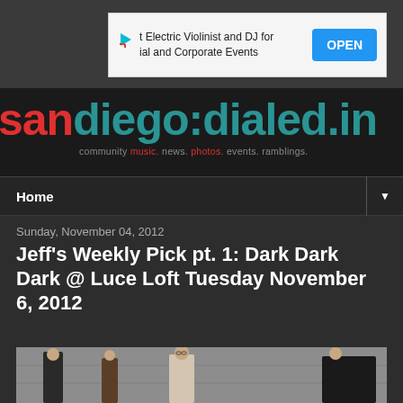[Figure (screenshot): Advertisement banner: 't Electric Violinist and DJ for ial and Corporate Events' with OPEN button]
[Figure (logo): San Diego Dialed In website logo with tagline: community music. news. photos. events. ramblings.]
Home
Sunday, November 04, 2012
Jeff's Weekly Pick pt. 1: Dark Dark Dark @ Luce Loft Tuesday November 6, 2012
[Figure (photo): Band photo showing four members standing against a concrete wall in dark clothing]